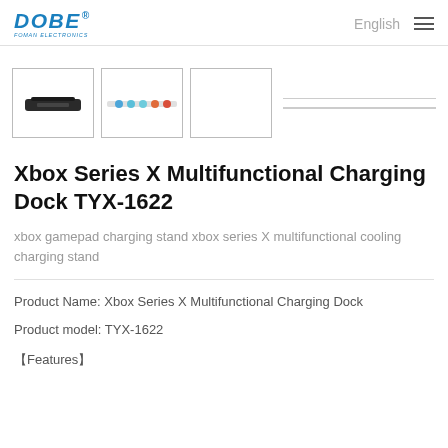DOBE FOMAN ELECTRONICS — English
[Figure (photo): Three product thumbnail images of the Xbox Series X Multifunctional Charging Dock TYX-1622. First thumbnail shows a dark top-down view of the charging dock. Second thumbnail shows a side view with colored LED indicators. Third thumbnail is a white/empty view. Two grey horizontal lines follow the thumbnails.]
Xbox Series X Multifunctional Charging Dock TYX-1622
xbox gamepad charging stand xbox series X multifunctional cooling charging stand
Product Name: Xbox Series X Multifunctional Charging Dock
Product model: TYX-1622
【Features】